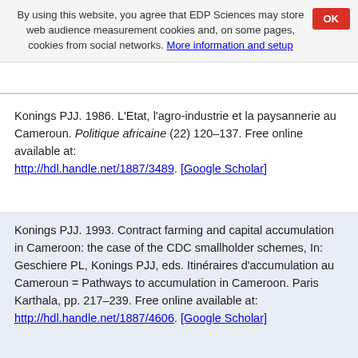By using this website, you agree that EDP Sciences may store web audience measurement cookies and, on some pages, cookies from social networks. More information and setup
OK
Konings PJJ. 1986. L’Etat, l’agro-industrie et la paysannerie au Cameroun. Politique africaine (22) 120–137. Free online available at: http://hdl.handle.net/1887/3489. [Google Scholar]
Konings PJJ. 1993. Contract farming and capital accumulation in Cameroon: the case of the CDC smallholder schemes, In: Geschiere PL, Konings PJJ, eds. Itinéraires d’accumulation au Cameroun = Pathways to accumulation in Cameroon. Paris Karthala, pp. 217–239. Free online available at: http://hdl.handle.net/1887/4606. [Google Scholar]